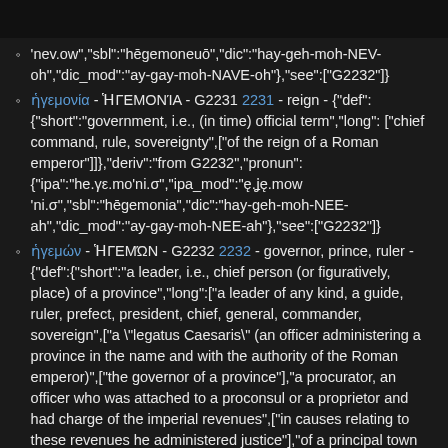'nev.ow","sbl":"hēgemoneuō","dic":"hay-geh-moh-NEV-oh","dic_mod":"ay-gay-moh-NAVE-oh"},"see":["G2232"]}
ἡγεμονία - ἩΓΕΜΟΝΊΑ - G2231 2231 - reign - {"def": {"short":"government, i.e., (in time) official term","long": ["chief command, rule, sovereignty",["of the reign of a Roman emperor"]]},"deriv":"from G2232","pronun": {"ipa":"he.γε.mo'ni.σ","ipa_mod":"ę.ʝę.mow 'ni.σ","sbl":"hēgemonia","dic":"hay-geh-moh-NEE-ah","dic_mod":"ay-gay-moh-NEE-ah"},"see":["G2232"]}
ἡγεμών - ἩΓΕΜΏΝ - G2232 2232 - governor, prince, ruler - {"def":{"short":"a leader, i.e., chief person (or figuratively, place) of a province","long":["a leader of any kind, a guide, ruler, prefect, president, chief, general, commander, sovereign",["a \"legatus Caesaris\" (an officer administering a province in the name and with the authority of the Roman emperor)",["the governor of a province"],"a procurator, an officer who was attached to a proconsul or a proprietor and had charge of the imperial revenues",["in causes relating to these revenues he administered justice"],"of a principal town as the capital of the region"]]},"deriv":"from